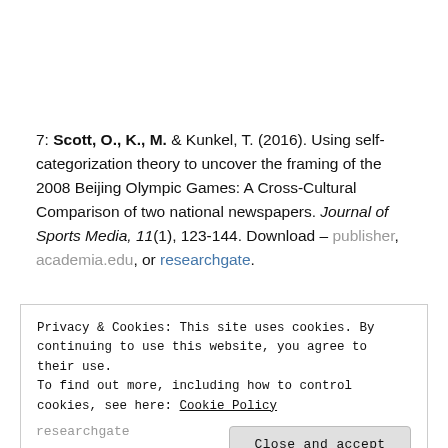7: Scott, O., K., M. & Kunkel, T. (2016). Using self-categorization theory to uncover the framing of the 2008 Beijing Olympic Games: A Cross-Cultural Comparison of two national newspapers. Journal of Sports Media, 11(1), 123-144. Download – publisher, academia.edu, or researchgate.
Privacy & Cookies: This site uses cookies. By continuing to use this website, you agree to their use. To find out more, including how to control cookies, see here: Cookie Policy
researchgate